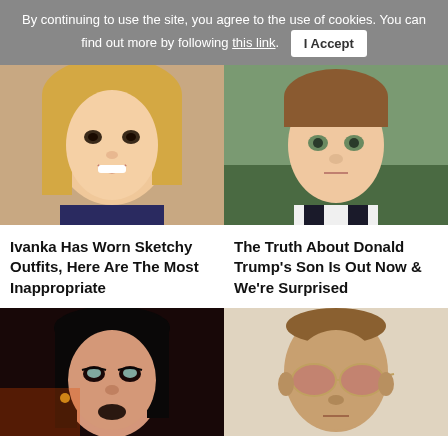By continuing to use the site, you agree to the use of cookies. You can find out more by following this link. I Accept
[Figure (photo): Close-up photo of a blonde woman smiling]
[Figure (photo): Close-up photo of a young boy with brown hair]
Ivanka Has Worn Sketchy Outfits, Here Are The Most Inappropriate
The Truth About Donald Trump's Son Is Out Now & We're Surprised
[Figure (photo): Close-up photo of a man with long dark hair and makeup]
[Figure (photo): Close-up photo of a bald man wearing tinted sunglasses]